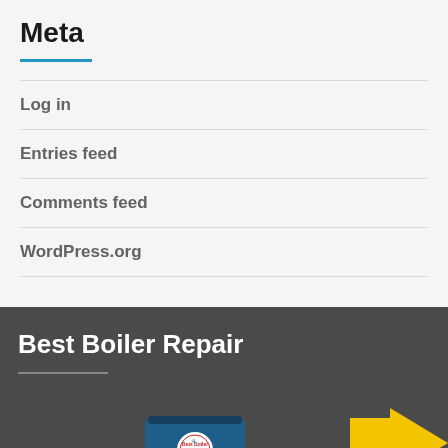Meta
Log in
Entries feed
Comments feed
WordPress.org
Best Boiler Repair
[Figure (illustration): Partial view of Best Boiler Repair logo/branding elements including a hat and yellow arrow shape on dark gray background]